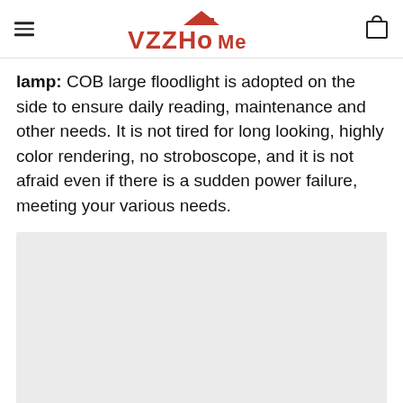VZZHoMe
lamp: COB large floodlight is adopted on the side to ensure daily reading, maintenance and other needs. It is not tired for long looking, highly color rendering, no stroboscope, and it is not afraid even if there is a sudden power failure, meeting your various needs.
[Figure (photo): Gray placeholder image area below the product description text]